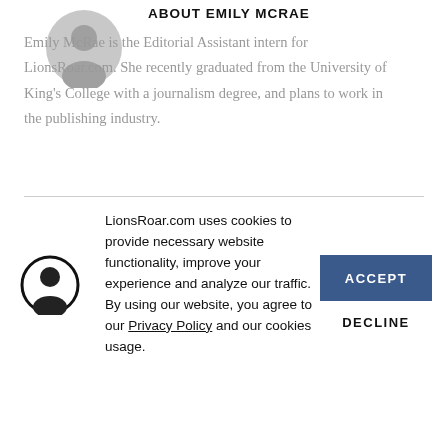ABOUT EMILY MCRAE
[Figure (illustration): Circular avatar icon with silhouette figure, gray background]
Emily McRae is the Editorial Assistant intern for LionsRoar.com. She recently graduated from the University of King's College with a journalism degree, and plans to work in the publishing industry.
[Figure (illustration): Circular avatar icon with silhouette figure, black border]
LionsRoar.com uses cookies to provide necessary website functionality, improve your experience and analyze our traffic. By using our website, you agree to our Privacy Policy and our cookies usage.
ACCEPT
DECLINE